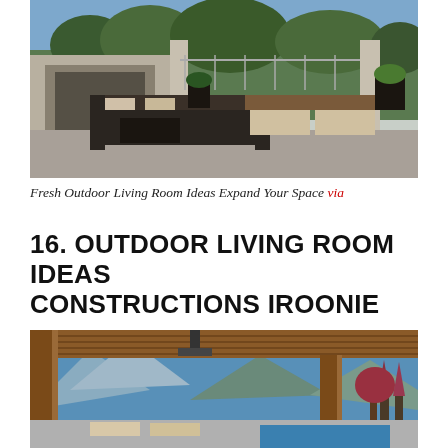[Figure (photo): Outdoor living room with concrete fireplace, modern dark sofa, dining table with wood benches, potted plants, and mountain/tree views in background]
Fresh Outdoor Living Room Ideas Expand Your Space via
16. OUTDOOR LIVING ROOM IDEAS CONSTRUCTIONS IROONIE
[Figure (photo): Covered outdoor patio with wood ceiling and beams, mountain views with snow-capped peaks, pool in foreground, red-leafed trees and evergreens in background, lounge chairs visible]